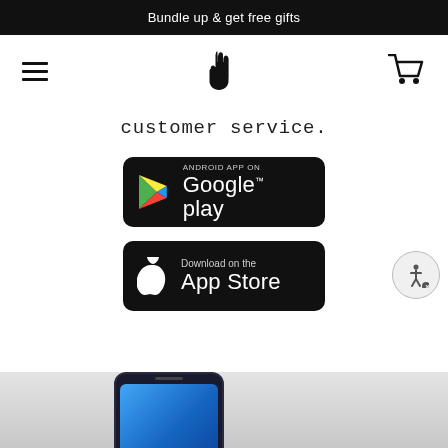Bundle up & get free gifts
[Figure (screenshot): Navigation bar with hamburger menu icon, hand logo icon, and shopping cart icon]
customer service.
[Figure (logo): Google Play store download badge - black button with Google Play triangle logo and text 'ANDROID APP ON Google play']
[Figure (logo): Apple App Store download badge - black button with Apple logo and text 'Download on the App Store']
[Figure (photo): Partial view of a smartphone at the bottom of the page on a light grey background]